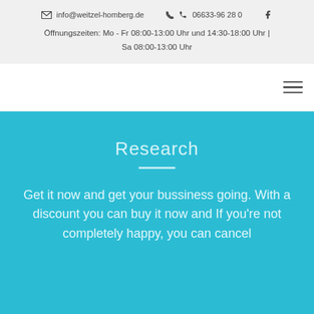info@weitzel-homberg.de  06633-96 28 0  f
Öffnungszeiten: Mo - Fr 08:00-13:00 Uhr und 14:30-18:00 Uhr | Sa 08:00-13:00 Uhr
Research
Get it now and get your bussiness going. With a discount you can buy it now and If you're not completely happy, you can cancel